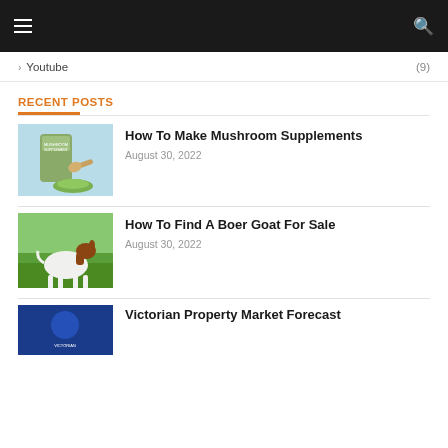Navigation bar with hamburger menu and search icon
> Youtube (9)
RECENT POSTS
[Figure (photo): Mushroom supplement powder bag with green powder and wooden scoop on light blue background]
How To Make Mushroom Supplements
August 30, 2022
[Figure (photo): White and brown Boer goat standing on green grass]
How To Find A Boer Goat For Sale
August 30, 2022
[Figure (photo): Victorian property market forecast thumbnail with blue background]
Victorian Property Market Forecast